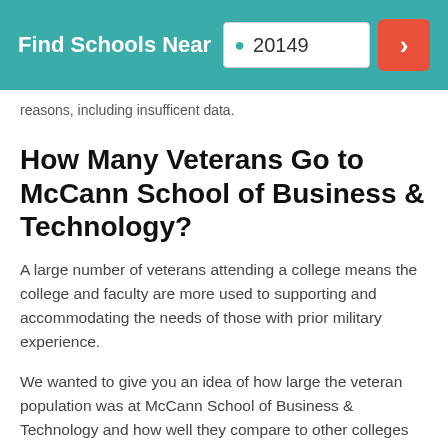Find Schools Near 20149
reasons, including insufficent data.
How Many Veterans Go to McCann School of Business & Technology?
A large number of veterans attending a college means the college and faculty are more used to supporting and accommodating the needs of those with prior military experience.
We wanted to give you an idea of how large the veteran population was at McCann School of Business & Technology and how well they compare to other colleges on factors we